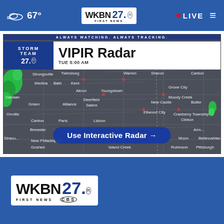67° WKBN 27 FIRST NEWS • LIVE
[Figure (screenshot): WKBN 27 Storm Team VIPIR Radar map showing NE Ohio/W Pennsylvania region with city labels including Cleveland, Youngstown, Warren, Sharon, Akron, Canton, Alliance, Salem, Deerfield, New Castle, Cranberry Township, Pittsburgh area. Green precipitation visible on west side. Overlay reads 'ALWAYS WATCHING. ALWAYS TRACKING.' with Storm Team 27 branding and 'VIPIR Radar TUE 5:00 AM'. A blue button overlay reads 'Use Interactive Radar →'.]
[Figure (logo): WKBN 27 FIRST NEWS CBS logo in white box on blue background at bottom of page]